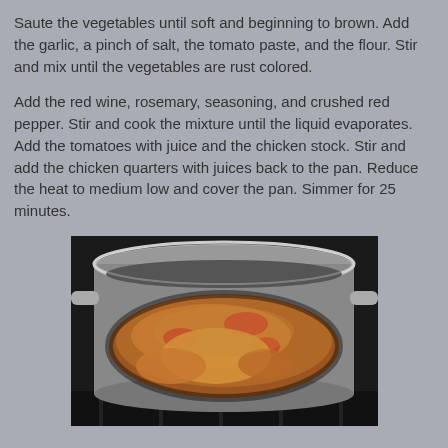Saute the vegetables until soft and beginning to brown. Add the garlic, a pinch of salt, the tomato paste, and the flour. Stir and mix until the vegetables are rust colored.
Add the red wine, rosemary, seasoning, and crushed red pepper. Stir and cook the mixture until the liquid evaporates. Add the tomatoes with juice and the chicken stock. Stir and add the chicken quarters with juices back to the pan. Reduce the heat to medium low and cover the pan. Simmer for 25 minutes.
[Figure (photo): A photo of a silver/stainless steel pan on a stove top containing braised chicken with tomatoes and vegetables simmering in a reddish-brown sauce.]